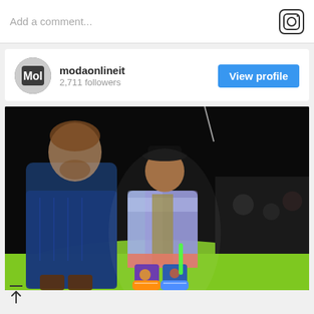Add a comment...
modaonlineit
2,711 followers
View profile
[Figure (photo): Fashion runway photo showing two male models walking on a green lit runway against a dark background. The central model wears a black hat, metallic/holographic jacket, colorful printed pants, and multicolored sneakers. The other model on the left wears a denim jacket.]